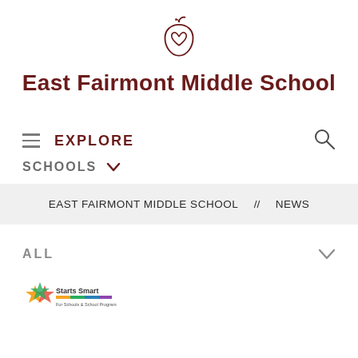[Figure (logo): East Fairmont Middle School apple logo with heart inside, drawn in dark red outline style]
East Fairmont Middle School
≡  EXPLORE
SCHOOLS ∨
EAST FAIRMONT MIDDLE SCHOOL  //  NEWS
ALL ∨
[Figure (logo): Starts Smart program logo with colorful star graphic and organization name]